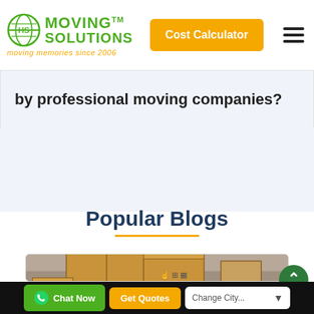[Figure (logo): Moving Solutions logo with globe icon, green text reading MOVING SOLUTIONS TM, orange tagline 'moving memories since 2006']
Cost Calculator
by professional moving companies?
Popular Blogs
[Figure (photo): Stack of cardboard moving boxes against a wall]
Chat Now
Get Quotes
Change City...